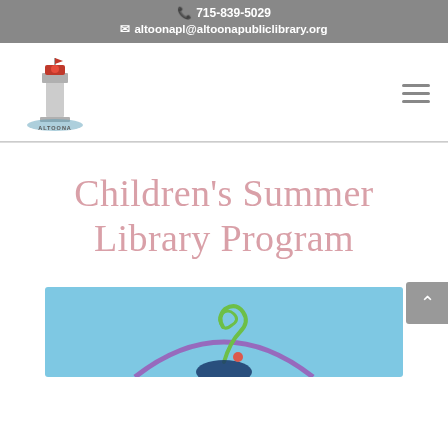📞 715-839-5029  ✉ altoonapl@altoonapubliclibrary.org
[Figure (logo): Altoona Public Library lighthouse logo]
Children's Summer Library Program
[Figure (photo): Close-up of a colorful decorative object on blue background — green spiral swirl and purple arc, part of summer library program artwork]